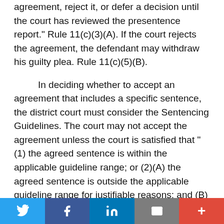agreement, reject it, or defer a decision until the court has reviewed the presentence report." Rule 11(c)(3)(A). If the court rejects the agreement, the defendant may withdraw his guilty plea. Rule 11(c)(5)(B).
In deciding whether to accept an agreement that includes a specific sentence, the district court must consider the Sentencing Guidelines. The court may not accept the agreement unless the court is satisfied that "(1) the agreed sentence is within the applicable guideline range; or (2)(A) the agreed sentence is outside the applicable guideline range for justifiable reasons; and (B) those reasons are set forth with specificity." United States Sentencing Commission, Guidelines Manual §6B1.2(c) (Nov. 2016) (USSG). "[T]he decision whether to accept the agreement will often be deferred until the sentencing hearing," which means that "the decision whether to accept the plea agreement will often be
Twitter | Facebook | LinkedIn | Email | More